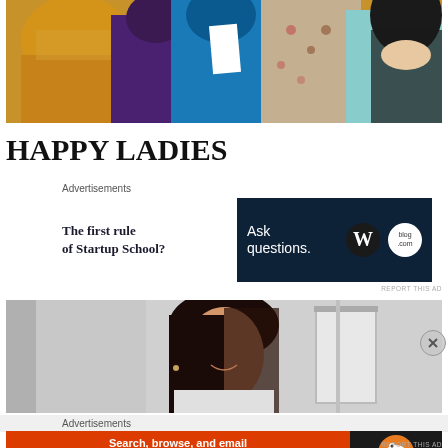[Figure (photo): Group of women in colorful Indian saris (yellow, purple/blue, floral, teal) gathered together, one holding papers]
HAPPY LADIES
Advertisements
The first rule of Startup School?
[Figure (photo): Advertisement banner: dark navy background with text 'Ask questions.' and WordPress and blog.com logos on the right]
REPORT THIS AD
[Figure (photo): Woman with dark hair smiling, photographed indoors against grey wall background]
Advertisements
[Figure (photo): DuckDuckGo advertisement: orange section with text 'Search, browse, and email with more privacy. All in One Free App' and duck logo on dark background with DuckDuckGo text]
REPORT THIS AD